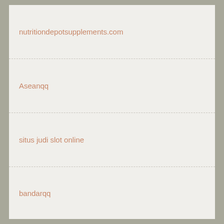nutritiondepotsupplements.com
Aseanqq
situs judi slot online
bandarqq